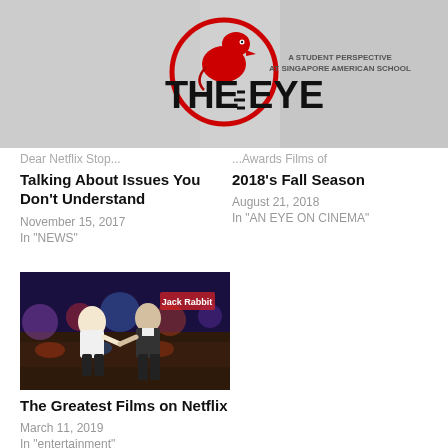[Figure (logo): The Eye logo - student perspective at Singapore American School, red eagle emblem]
Dear Netflix Stop...Talking About Issues You Don't Understand
November 15, 2017
In "NEWS"
...Awards Films of 2018's Fall Season
August 21, 2018
In "AN EYE ON CINEMA"
[Figure (photo): Two people dancing in a colorful venue scene, resembling a scene from Pulp Fiction]
The Greatest Films on Netflix
March 11, 2019
In "entertainment"